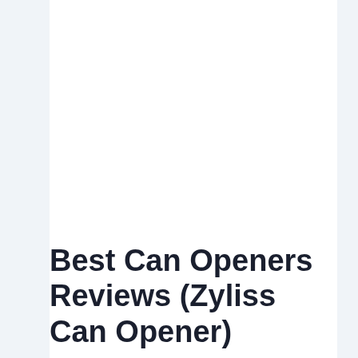Best Can Openers Reviews (Zyliss Can Opener)